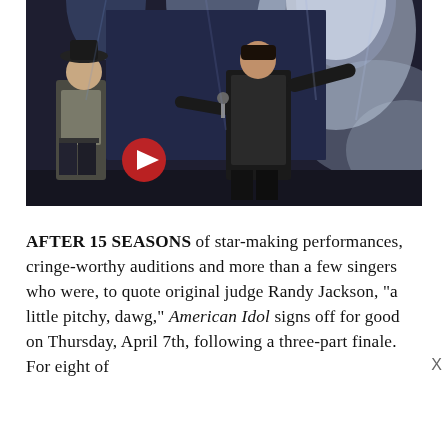[Figure (photo): Two men performing on stage. On the left, a man wearing a black cowboy hat and grey t-shirt stands facing right. On the right, a man in a black leather jacket sings into a microphone with his arm outstretched. Stage lighting and smoke/fog effects visible in background. A red play button icon is visible on the left side of the image.]
AFTER 15 SEASONS of star-making performances, cringe-worthy auditions and more than a few singers who were, to quote original judge Randy Jackson, "a little pitchy, dawg," American Idol signs off for good on Thursday, April 7th, following a three-part finale. For eight of